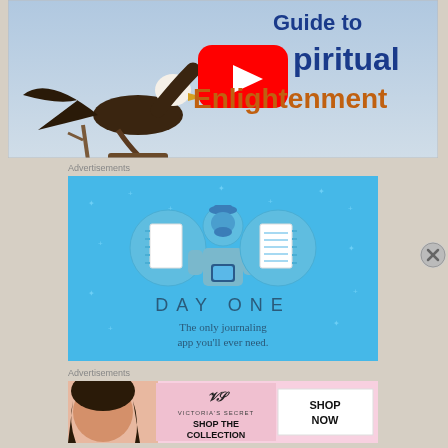[Figure (screenshot): YouTube video thumbnail showing a bald eagle in flight with text 'Guide to Spiritual Enlightenment' and a YouTube play button overlay]
Advertisements
[Figure (screenshot): Day One app advertisement on light blue background showing a person illustration with journal icons and text 'DAY ONE - The only journaling app you'll ever need.']
Advertisements
[Figure (screenshot): Victoria's Secret advertisement showing a woman and text 'SHOP THE COLLECTION' with a 'SHOP NOW' button]